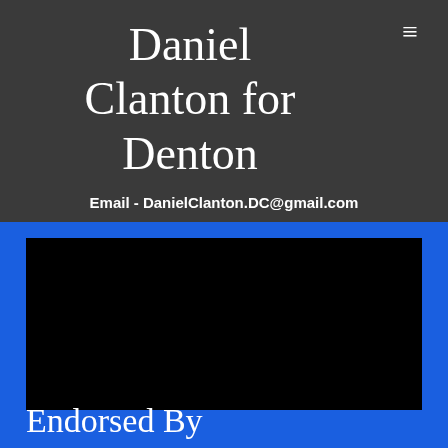Daniel Clanton for Denton
Email - DanielClanton.DC@gmail.com
[Figure (photo): Aerial view of Denton, Texas city center showing the historic courthouse and surrounding downtown area with trees and streets visible]
Endorsed By